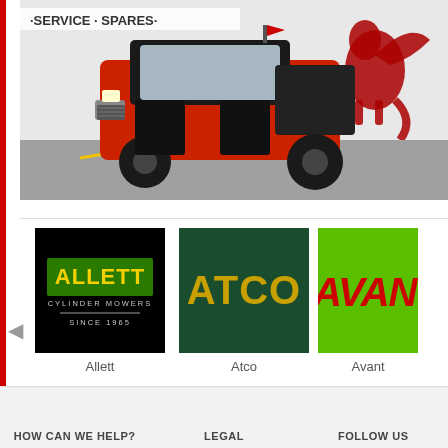[Figure (photo): A red utility vehicle / UTV parked outside a dealer building with 'SERVICE · SPARES' signage and a red Welsh dragon logo on the wall]
[Figure (logo): Allett Cylinder Mowers Since 1965 logo — yellow text on black background]
Allett
[Figure (logo): ATCO logo — gold text on dark green background]
Atco
[Figure (logo): AVANT logo — red stylized text on bright green background (partially cropped)]
Avant
HOW CAN WE HELP?   LEGAL   FOLLOW US